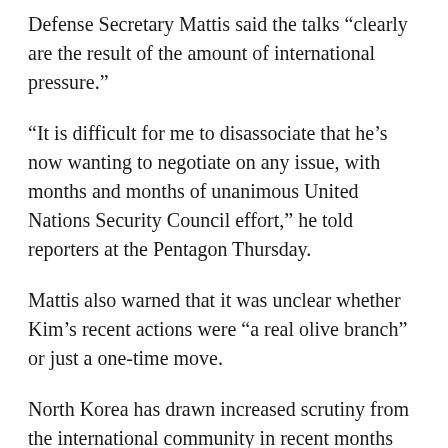Defense Secretary Mattis said the talks “clearly are the result of the amount of international pressure.”
“It is difficult for me to disassociate that he’s now wanting to negotiate on any issue, with months and months of unanimous United Nations Security Council effort,” he told reporters at the Pentagon Thursday.
Mattis also warned that it was unclear whether Kim’s recent actions were “a real olive branch” or just a one-time move.
North Korea has drawn increased scrutiny from the international community in recent months because of a number of missile launches and its sixth and most powerful nuclear test.